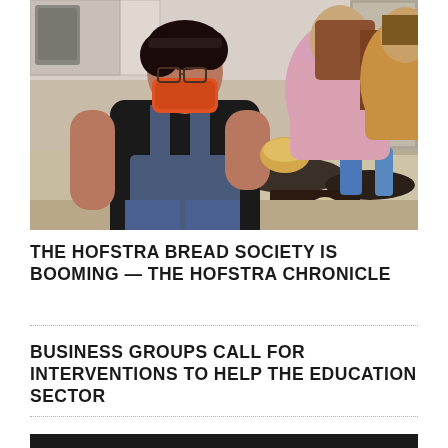[Figure (photo): Photo of students in a kitchen setting baking bread. A person in the foreground wearing a black shirt, denim apron, and orange mask holds a bread roll while working at a kitchen counter with baking trays and supplies. Another person in a pink shirt is visible in the background.]
THE HOFSTRA BREAD SOCIETY IS BOOMING — THE HOFSTRA CHRONICLE
BUSINESS GROUPS CALL FOR INTERVENTIONS TO HELP THE EDUCATION SECTOR